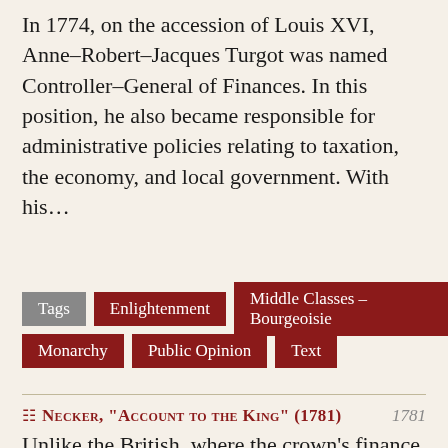In 1774, on the accession of Louis XVI, Anne–Robert–Jacques Turgot was named Controller–General of Finances. In this position, he also became responsible for administrative policies relating to taxation, the economy, and local government. With his…
Tags | Enlightenment | Middle Classes – Bourgeoisie | Monarchy | Public Opinion | Text
Necker, "Account to the King" (1781) 1781
Unlike the British, where the crown's finance minister gave an annual report to Parliament, the French royal treasury's accounts were a closely